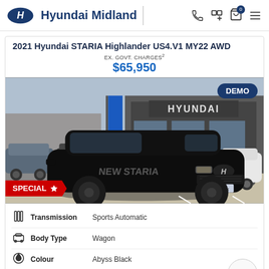Hyundai Midland
2021 Hyundai STARIA Highlander US4.V1 MY22 AWD EX. GOVT. CHARGES² $65,950
[Figure (photo): Black 2021 Hyundai STARIA Highlander parked at Hyundai Midland dealership, with DEMO badge top right and SPECIAL badge bottom left]
Transmission: Sports Automatic
Body Type: Wagon
Colour: Abyss Black
Kilometres: 8,641 Kms